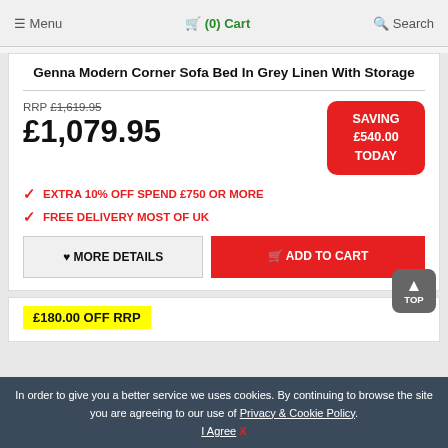Menu  (0) Cart  Search
Genna Modern Corner Sofa Bed In Grey Linen With Storage
RRP £1,619.95
£1,079.95
SAVING £540.00 TODAY
EXTRA 10% OFF SPEND £750 OR MORE
FREE DELIVERY MOST OF UK
MORE DETAILS  ADD TO CART
£180.00 OFF RRP
In order to give you a better service we uses cookies. By continuing to browse the site you are agreeing to our use of Privacy & Cookie Policy. I Agree X